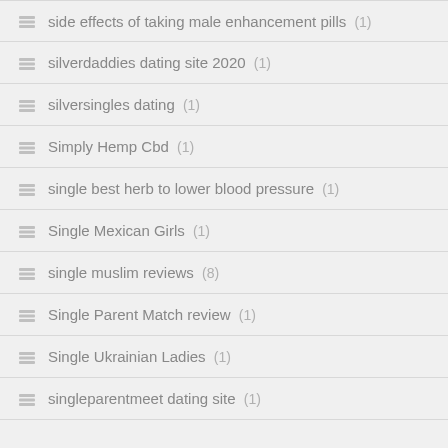side effects of taking male enhancement pills (1)
silverdaddies dating site 2020 (1)
silversingles dating (1)
Simply Hemp Cbd (1)
single best herb to lower blood pressure (1)
Single Mexican Girls (1)
single muslim reviews (8)
Single Parent Match review (1)
Single Ukrainian Ladies (1)
singleparentmeet dating site (1)